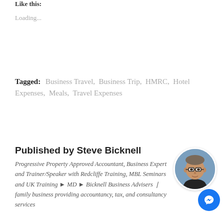Like this:
Loading...
Tagged:   Business Travel,  Business Trip,  HMRC,  Hotel Expenses,  Meals,  Travel Expenses
Published by Steve Bicknell
Progressive Property Approved Accountant, Business Expert and Trainer/Speaker with Redcliffe Training, MBL Seminars and UK Training ► MD ► Bicknell Business Advisers ✿ family business providing accountancy, tax, and consultancy services
[Figure (photo): Circular profile photo of Steve Bicknell, a man with glasses]
[Figure (other): Facebook Messenger blue circular button with chat/lightning bolt icon]